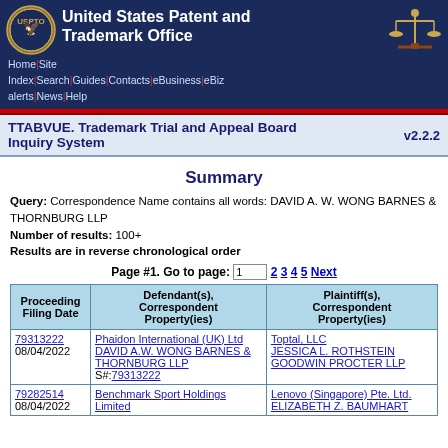[Figure (logo): USPTO eagle seal logo on dark navy background]
United States Patent and Trademark Office
[Figure (logo): Scales of justice icon on dark navy background]
Home | Site Index | Search | Guides | Contacts | eBusiness | eBiz alerts | News | Help
TTABVUE. Trademark Trial and Appeal Board Inquiry System v2.2.2
Summary
Query: Correspondence Name contains all words: DAVID A. W. WONG BARNES & THORNBURG LLP
Number of results: 100+
Results are in reverse chronological order
Page #1. Go to page: 1  2 3 4 5 Next
| Proceeding Filing Date | Defendant(s), Correspondent Property(ies) | Plaintiff(s), Correspondent Property(ies) |
| --- | --- | --- |
| 79313222
08/04/2022 | Phaidon International (UK) Ltd
DAVID A.W. WONG BARNES & THORNBURG LLP
S#:79313222 | Toptal, LLC
JESSICA L. ROTHSTEIN
GOODWIN PROCTER LLP |
| 79282514
08/04/2022 | Benchmark Sport Holdings Limited | Lenovo (Singapore) Pte. Ltd.
ELIZABETH Z. BAUMHART |